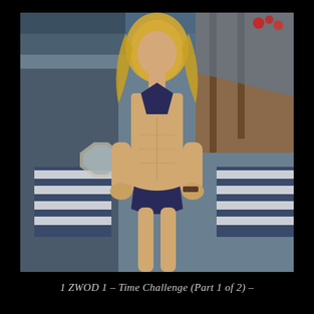[Figure (photo): A fit blonde woman in a dark navy bikini top and bottoms standing with hands on hips against an outdoor cabana or patio background with striped cushions and wooden structures.]
1 ZWOD 1 – Time Challenge (Part 1 of 2) –